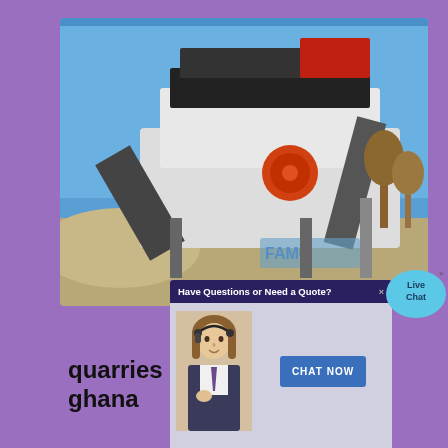[Figure (photo): Industrial mining/crushing machinery with orange circular component on a blue sky background, with FAMC branding visible]
[Figure (screenshot): Live chat widget overlay showing 'Have Questions or Need a Quote?' header, a customer service representative photo, and a CHAT NOW button in blue. Live Chat bubble in cyan on the right.]
quarries companies in ghana
limestones quarries in ghana - Gastouderopvang Lydia. limestone quarry companies in ghana - royalcrescentgroupin. list of quarry companies in ghana Limestone Processing Plant, 2015 as one of the largest mining and crushing list of stone quarry companies in ghana 11 Dec 2013 Get the price of list of stone quarry. th2015 limestone quarry ...